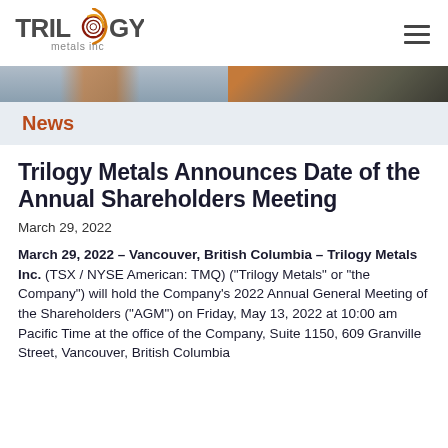Trilogy Metals Inc. - logo and navigation
[Figure (photo): Outdoor construction/mining equipment photo strip banner]
News
Trilogy Metals Announces Date of the Annual Shareholders Meeting
March 29, 2022
March 29, 2022 – Vancouver, British Columbia – Trilogy Metals Inc. (TSX / NYSE American: TMQ) ("Trilogy Metals" or "the Company") will hold the Company's 2022 Annual General Meeting of the Shareholders ("AGM") on Friday, May 13, 2022 at 10:00 am Pacific Time at the office of the Company, Suite 1150, 609 Granville Street, Vancouver, British Columbia